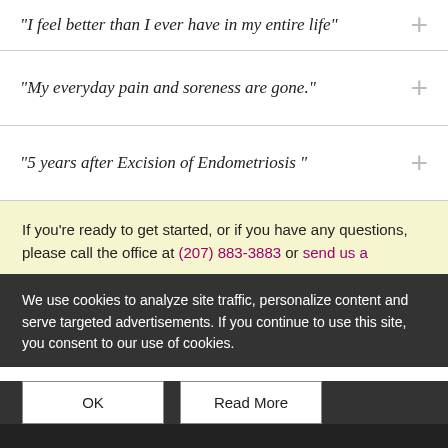"I feel better than I ever have in my entire life"
"My everyday pain and soreness are gone."
"5 years after Excision of Endometriosis "
If you're ready to get started, or if you have any questions, please call the office at (207) 883-3883 or send us a
We use cookies to analyze site traffic, personalize content and serve targeted advertisements. If you continue to use this site, you consent to our use of cookies.
OK
Read More